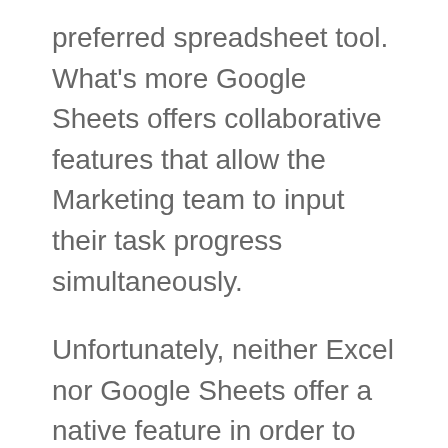preferred spreadsheet tool. What's more Google Sheets offers collaborative features that allow the Marketing team to input their task progress simultaneously.
Unfortunately, neither Excel nor Google Sheets offer a native feature in order to import data from one tool to another. However, using the Sheetgo web app, not only can you can effectively filter my Excel data to import into Google Sheets, but you can do this automatically. As a result,